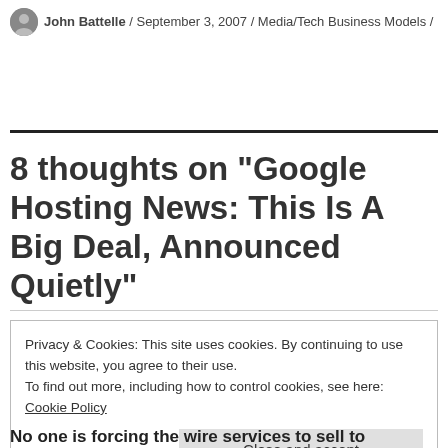John Battelle / September 3, 2007 / Media/Tech Business Models /
8 thoughts on “Google Hosting News: This Is A Big Deal, Announced Quietly”
Privacy & Cookies: This site uses cookies. By continuing to use this website, you agree to their use.
To find out more, including how to control cookies, see here: Cookie Policy
Close and accept
No one is forcing the wire services to sell to